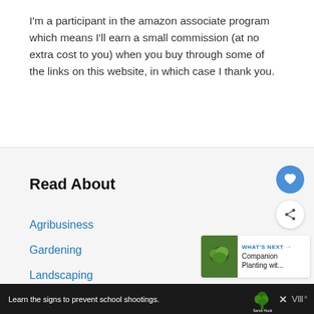I'm a participant in the amazon associate program which means I'll earn a small commission (at no extra cost to you) when you buy through some of the links on this website, in which case I thank you.
Read About
Agribusiness
Gardening
Landscaping
[Figure (other): Heart/favorite button (blue circle with white heart icon) and Share button (white circle with share icon), plus a 'What's Next' card showing a green leafy image with text 'WHAT'S NEXT → Companion Planting wit...']
Learn the signs to prevent school shootings. Sandy Hook PROMISE